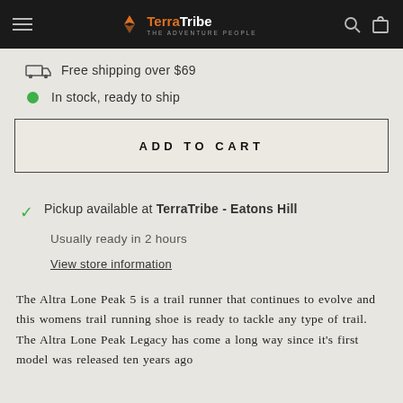TerraTribe navigation bar with hamburger menu, logo, search and cart icons
Free shipping over $69
In stock, ready to ship
ADD TO CART
Pickup available at TerraTribe - Eatons Hill
Usually ready in 2 hours
View store information
The Altra Lone Peak 5 is a trail runner that continues to evolve and this womens trail running shoe is ready to tackle any type of trail. The Altra Lone Peak Legacy has come a long way since it's first model was released ten years ago